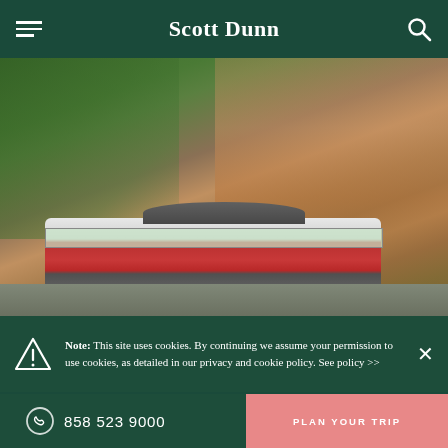Scott Dunn
[Figure (photo): Street scene with a red and white tram/streetcar in front of a large ornate pink/red colonial-era building, surrounded by green trees]
Note: This site uses cookies. By continuing we assume your permission to use cookies, as detailed in our privacy and cookie policy. See policy >>
858 523 9000  |  PLAN YOUR TRIP